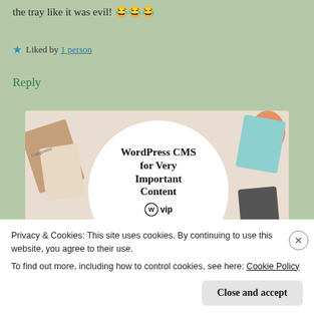the tray like it was evil! 😂😂😂
★ Liked by 1 person
Reply
[Figure (illustration): WordPress VIP advertisement showing 'WordPress CMS for Very Important Content' with WP VIP logo and 'Learn more →' button, surrounded by colorful card/document graphics on a light background.]
Privacy & Cookies: This site uses cookies. By continuing to use this website, you agree to their use.
To find out more, including how to control cookies, see here: Cookie Policy
Close and accept